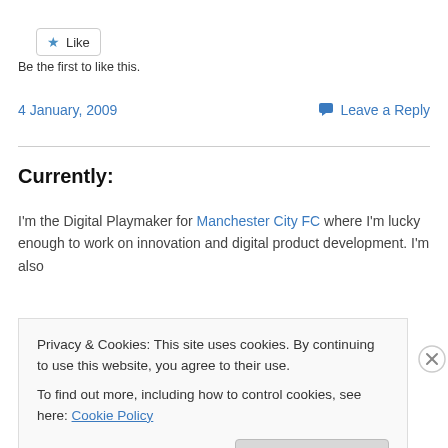[Figure (other): Like button with star icon]
Be the first to like this.
4 January, 2009    Leave a Reply
Currently:
I'm the Digital Playmaker for Manchester City FC where I'm lucky enough to work on innovation and digital product development. I'm also
Privacy & Cookies: This site uses cookies. By continuing to use this website, you agree to their use.
To find out more, including how to control cookies, see here: Cookie Policy
Close and accept